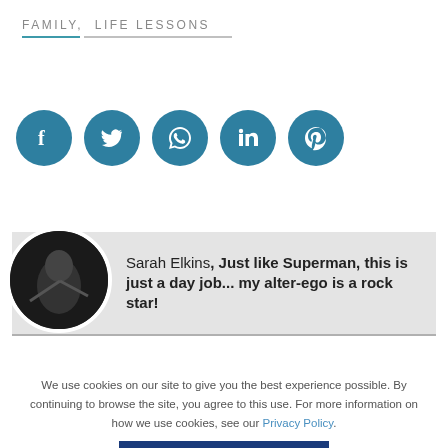FAMILY, LIFE LESSONS
[Figure (infographic): Five social media share buttons in teal circles: Facebook, Twitter, WhatsApp, LinkedIn, Pinterest]
Sarah Elkins, Just like Superman, this is just a day job... my alter-ego is a rock star!
We use cookies on our site to give you the best experience possible. By continuing to browse the site, you agree to this use. For more information on how we use cookies, see our Privacy Policy.
CONTINUE